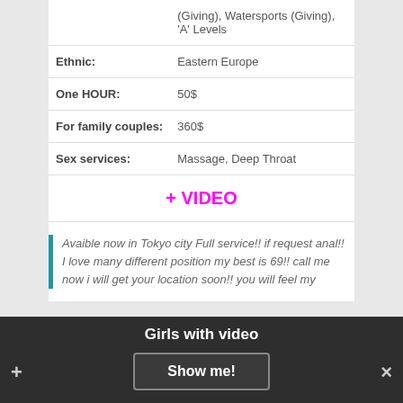|  | (Giving), Watersports (Giving), 'A' Levels |
| Ethnic: | Eastern Europe |
| One HOUR: | 50$ |
| For family couples: | 360$ |
| Sex services: | Massage, Deep Throat |
+ VIDEO
Avaible now in Tokyo city Full service!! if request anal!! I love many different position my best is 69!! call me now i will get your location soon!! you will feel my
Girls with video
Show me!